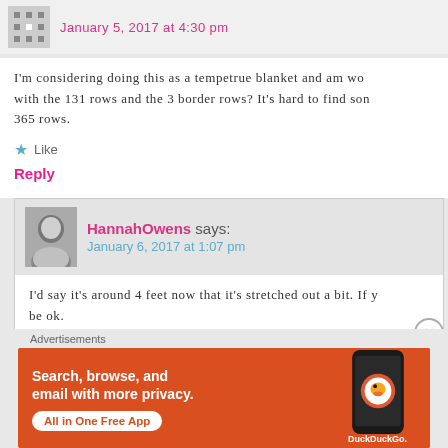January 5, 2017 at 4:30 pm
I'm considering doing this as a tempetrue blanket and am wo with the 131 rows and the 3 border rows? It's hard to find son 365 rows.
Like
Reply
HannahOwens says:
January 6, 2017 at 1:07 pm
I'd say it's around 4 feet now that it's stretched out a bit. If y be ok.
Like
[Figure (illustration): DuckDuckGo advertisement banner: orange background with text 'Search, browse, and email with more privacy. All in One Free App' and a phone showing the DuckDuckGo app logo.]